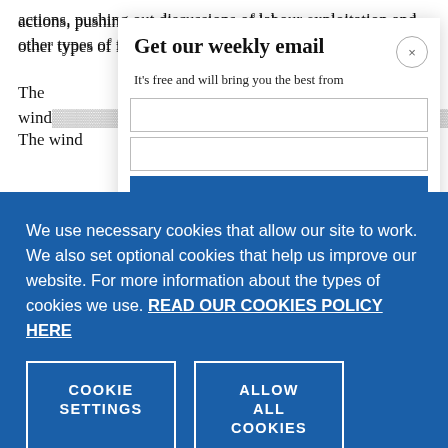actions, pushing out discussions of labour exploitation and other types of forced movement along the way.
The wind
Get our weekly email
It's free and will bring you the best from
We use necessary cookies that allow our site to work. We also set optional cookies that help us improve our website. For more information about the types of cookies we use. READ OUR COOKIES POLICY HERE
COOKIE SETTINGS
ALLOW ALL COOKIES
data.